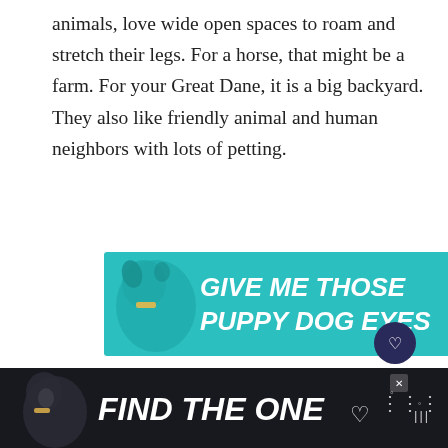animals, love wide open spaces to roam and stretch their legs. For a horse, that might be a farm. For your Great Dane, it is a big backyard. They also like friendly animal and human neighbors with lots of petting.
[Figure (other): Teal advertisement banner showing a dog illustration with text 'GIVE ME THOSE PUPPY DOG EYES' in bold italic white font on a teal background, with a small X close button and a heart outline]
[Figure (other): Circular dark navy button with a white heart icon]
[Figure (other): Circular white share button with share icon]
[Figure (other): What's Next panel showing a small thumbnail image of a dog with text 'WHAT'S NEXT → Are Tennis Balls Safe fo...']
[Figure (other): Black bottom advertisement banner with a dog illustration and text 'FIND THE ONE' with a heart icon and a music streaming logo]